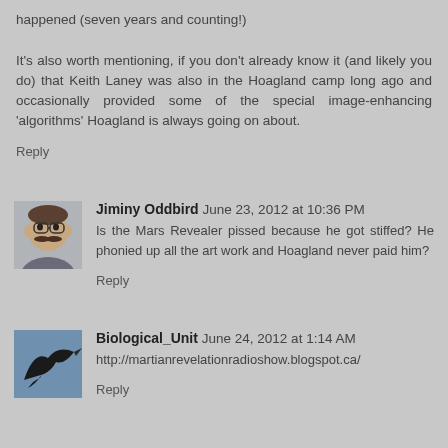happened (seven years and counting!)

It's also worth mentioning, if you don't already know it (and likely you do) that Keith Laney was also in the Hoagland camp long ago and occasionally provided some of the special image-enhancing 'algorithms' Hoagland is always going on about.
Reply
Jiminy Oddbird  June 23, 2012 at 10:36 PM
Is the Mars Revealer pissed because he got stiffed? He phonied up all the art work and Hoagland never paid him?
Reply
Biological_Unit  June 24, 2012 at 1:14 AM
http://martianrevelationradioshow.blogspot.ca/
Reply